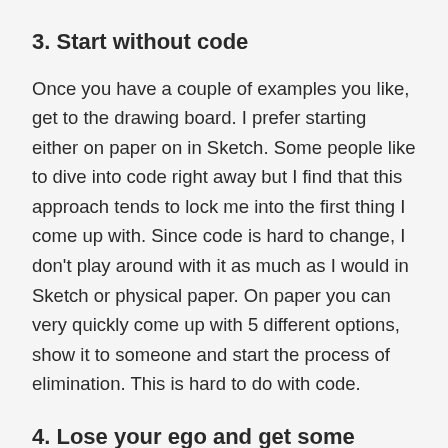3. Start without code
Once you have a couple of examples you like, get to the drawing board. I prefer starting either on paper on in Sketch. Some people like to dive into code right away but I find that this approach tends to lock me into the first thing I come up with. Since code is hard to change, I don't play around with it as much as I would in Sketch or physical paper. On paper you can very quickly come up with 5 different options, show it to someone and start the process of elimination. This is hard to do with code.
4. Lose your ego and get some feedback